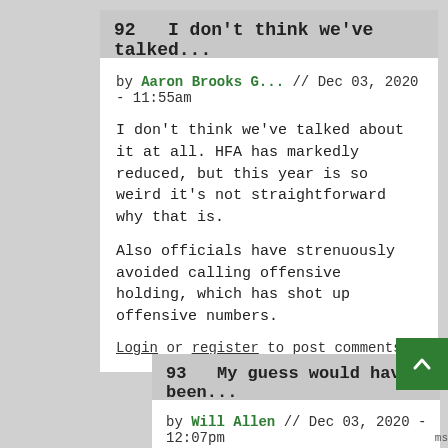92   I don't think we've talked...
by Aaron Brooks G... // Dec 03, 2020 - 11:55am
I don't think we've talked about it at all. HFA has markedly reduced, but this year is so weird it's not straightforward why that is.
Also officials have strenuously avoided calling offensive holding, which has shot up offensive numbers.
Login or register to post comments
93   My guess would have been...
by Will Allen // Dec 03, 2020 - 12:07pm